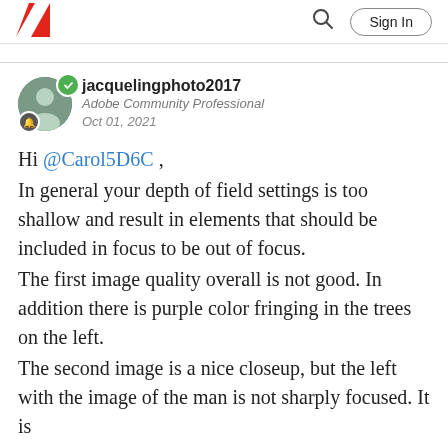Adobe community page header with logo, search icon, and Sign In button
jacquelingphoto2017
Adobe Community Professional
Oct 01, 2021
Hi @Carol5D6C ,
In general your depth of field settings is too shallow and result in elements that should be included in focus to be out of focus.
The first image quality overall is not good. In addition there is purple color fringing in the trees on the left.
The second image is a nice closeup, but the left with the image of the man is not sharply focused. It is